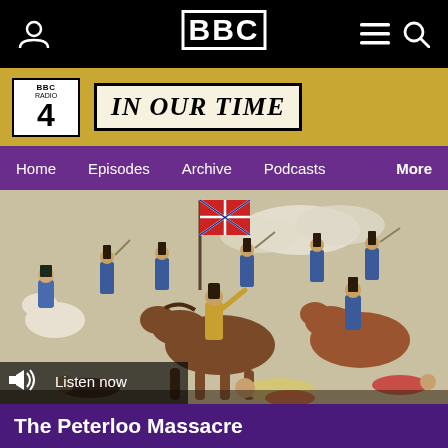BBC
[Figure (logo): BBC Radio 4 In Our Time show banner with mosaic gold background]
Home  Episodes  Archive  Podcasts  More
[Figure (illustration): Historical illustration of the Peterloo Massacre showing cavalry charging into a crowd, soldiers in blue uniforms on horseback with sabres, people falling, British flag visible in background. Listen now button overlay at bottom left.]
The Peterloo Massacre